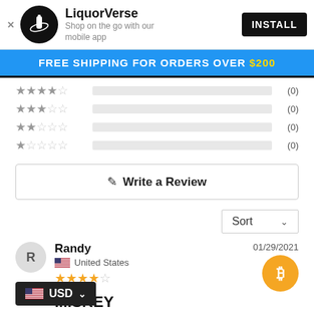[Figure (screenshot): LiquorVerse app banner with logo, name, description, and INSTALL button]
FREE SHIPPING FOR ORDERS OVER $200
[Figure (infographic): Rating bars: 4-star (0), 3-star (0), 2-star (0), 1-star (0)]
✎ Write a Review
Sort
Randy
United States
4 stars
01/29/2021
...ISKEY
Delivery was good. Product was good. Little pricey on
[Figure (logo): Bitcoin/crypto currency logo circle (orange with B symbol)]
[Figure (infographic): USD currency selector overlay with US flag, USD text and dropdown arrow]